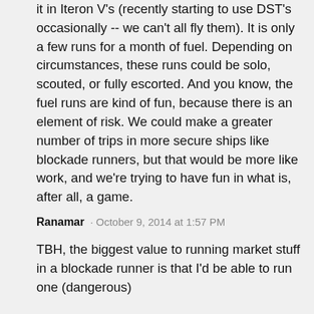it in Iteron V's (recently starting to use DST's occasionally -- we can't all fly them). It is only a few runs for a month of fuel. Depending on circumstances, these runs could be solo, scouted, or fully escorted. And you know, the fuel runs are kind of fun, because there is an element of risk. We could make a greater number of trips in more secure ships like blockade runners, but that would be more like work, and we're trying to have fun in what is, after all, a game.
Ranamar · October 9, 2014 at 1:57 PM
TBH, the biggest value to running market stuff in a blockade runner is that I'd be able to run one (dangerous)